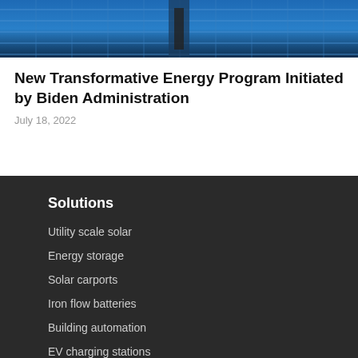[Figure (photo): Close-up of blue solar panels from above with a mounting structure visible in the center]
New Transformative Energy Program Initiated by Biden Administration
July 18, 2022
Solutions
Utility scale solar
Energy storage
Solar carports
Iron flow batteries
Building automation
EV charging stations